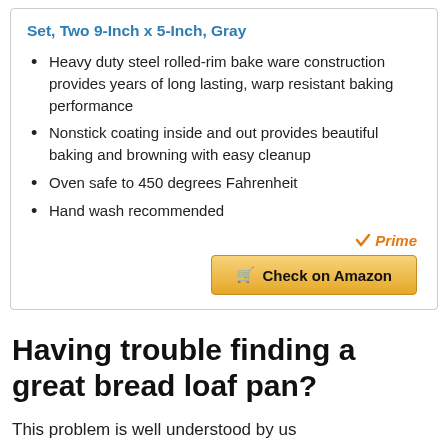Set, Two 9-Inch x 5-Inch, Gray
Heavy duty steel rolled-rim bake ware construction provides years of long lasting, warp resistant baking performance
Nonstick coating inside and out provides beautiful baking and browning with easy cleanup
Oven safe to 450 degrees Fahrenheit
Hand wash recommended
[Figure (logo): Amazon Prime badge with checkmark and 'Prime' text in orange/grey]
[Figure (other): Check on Amazon button with cart icon, golden gradient background]
Having trouble finding a great bread loaf pan?
This problem is well understood by us